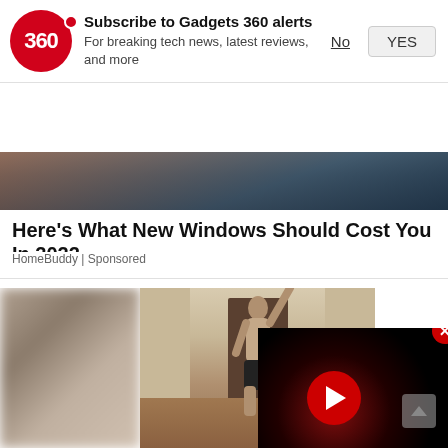[Figure (screenshot): Gadgets 360 subscription notification bar with red circular logo showing '360', bold text 'Subscribe to Gadgets 360 alerts', subtitle 'For breaking tech news, latest reviews, and more', and No/YES buttons]
[Figure (photo): Partial view of a person in athletic wear in a hallway, with a blurred left portion and a video player overlay showing a red play button on black background with a red X close button]
Here's What New Windows Should Cost You In 2022
HomeBuddy | Sponsored